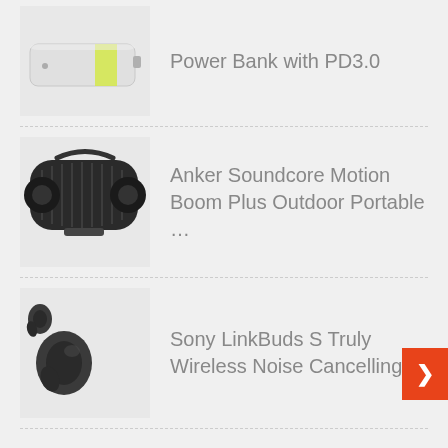Power Bank with PD3.0
Anker Soundcore Motion Boom Plus Outdoor Portable …
Sony LinkBuds S Truly Wireless Noise Cancelling …